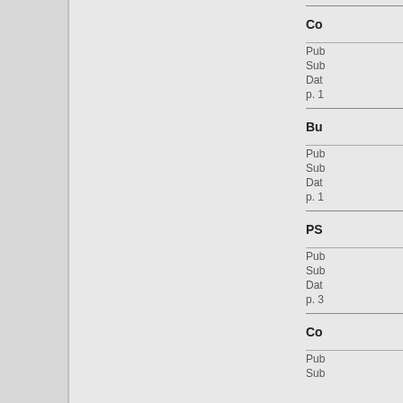Co...
Pub...
Sub...
Dat...
p. 1
Bu...
Pub...
Sub...
Dat...
p. 1
PS...
Pub...
Sub...
Dat...
p. 3
Co...
Pub...
Sub...